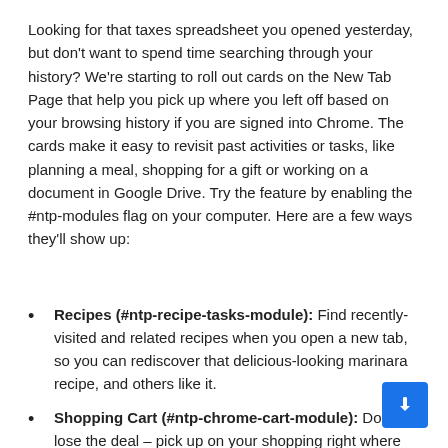Looking for that taxes spreadsheet you opened yesterday, but don't want to spend time searching through your history? We're starting to roll out cards on the New Tab Page that help you pick up where you left off based on your browsing history if you are signed into Chrome. The cards make it easy to revisit past activities or tasks, like planning a meal, shopping for a gift or working on a document in Google Drive. Try the feature by enabling the #ntp-modules flag on your computer. Here are a few ways they'll show up:
Recipes (#ntp-recipe-tasks-module): Find recently-visited and related recipes when you open a new tab, so you can rediscover that delicious-looking marinara recipe, and others like it.
Shopping Cart (#ntp-chrome-cart-module): Don't lose the deal – pick up on your shopping right where you left off. When you step away or browse on other sites, you can jump back into your